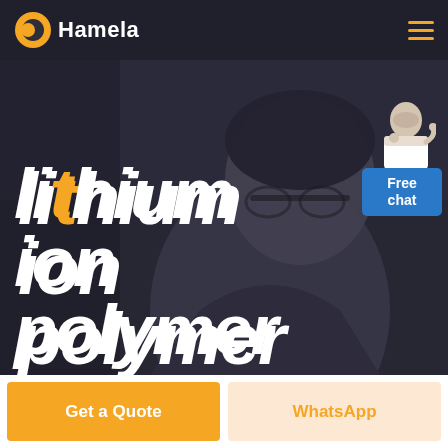Hamela
[Figure (photo): Dark background hero image showing a person with glasses looking upward, with large bold italic white text 'lithium ion polymer' overlaid]
lithium ion polymer
Free chat
Get a Quote
WhatsApp